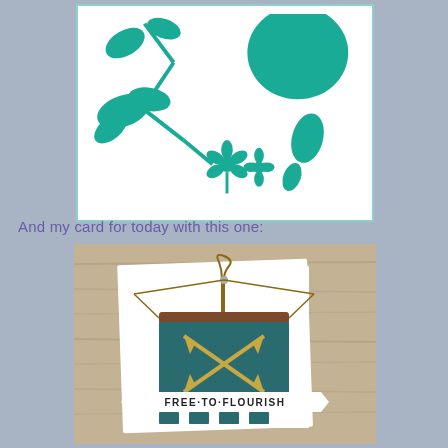[Figure (illustration): Teal/turquoise floral die-cut shapes on white background with light teal border — includes rose bloom, leaves, small flowers, and single leaf shapes]
And my card for today with this one:
[Figure (photo): Photo of a handmade card featuring a mini banner/pennant made of dark teal felt with crossed gold arrows, hanging from a brown wood dowel with twine. A white ribbon banner reads FREE·TO·FLOURISH. Card is propped against a rustic wood background.]